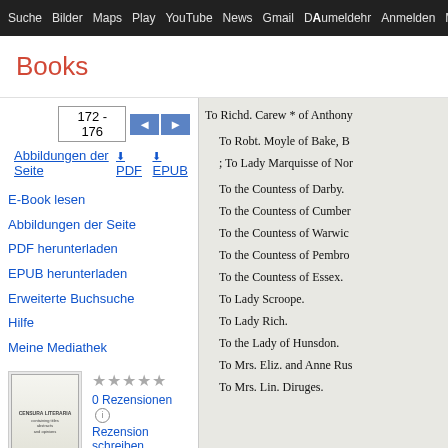Suche  Bilder  Maps  Play  YouTube  News  Gmail  DAumeldehr  Anmelden  Mehr
Books
172 - 176
Abbildungen der Seite  PDF  EPUB
E-Book lesen
Abbildungen der Seite
PDF herunterladen
EPUB herunterladen
Erweiterte Buchsuche
Hilfe
Meine Mediathek
0 Rezensionen
Rezension schreiben
Censura Literaria: Containing Titles, Abstracts, and Opinions of ..., Bände
To Richd. Carew * of Anthony

To Robt. Moyle of Bake, B
; To Lady Marquisse of Nor

To the Countess of Darby.
To the Countess of Cumber
To the Countess of Warwic
To the Countess of Pembro
To the Countess of Essex.
To Lady Scroope.
To Lady Rich.
To the Lady of Hunsdon.
To Mrs. Eliz. and Anne Rus
To Mrs. Lin. Diruges.